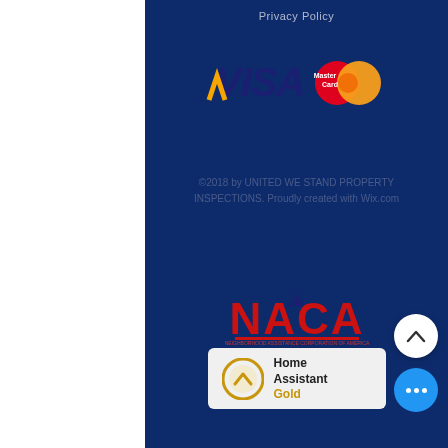Privacy Policy
[Figure (logo): VISA and MasterCard payment logos side by side]
©2018 by UNITED WE STAND PROPERTY INSPECTIONS. Proudly created with Wix.com
[Figure (logo): NACA logo in red letters with house icon]
[Figure (logo): Home Assistant Gold badge with gold circle chevron icon]